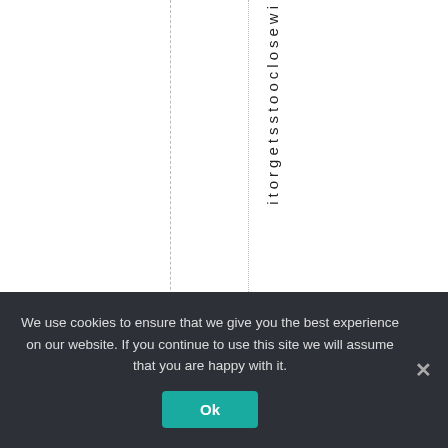[Figure (other): White page area with two vertical dashed/dotted lines and vertical text reading 'itorgetsstooclosewi' running top to bottom]
We use cookies to ensure that we give you the best experience on our website. If you continue to use this site we will assume that you are happy with it.